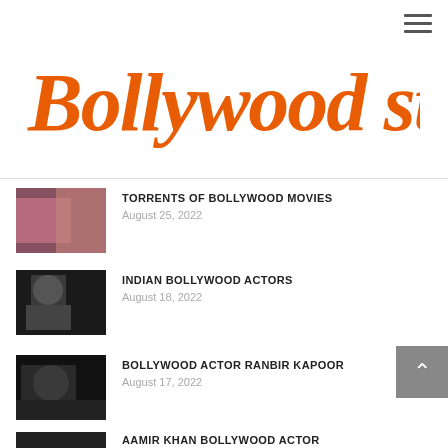[Figure (logo): Bollywood stories logo in orange cursive/italic font]
TORRENTS OF BOLLYWOOD MOVIES
August 25, 2022
INDIAN BOLLYWOOD ACTORS
August 18, 2022
BOLLYWOOD ACTOR RANBIR KAPOOR
August 17, 2022
AAMIR KHAN BOLLYWOOD ACTOR